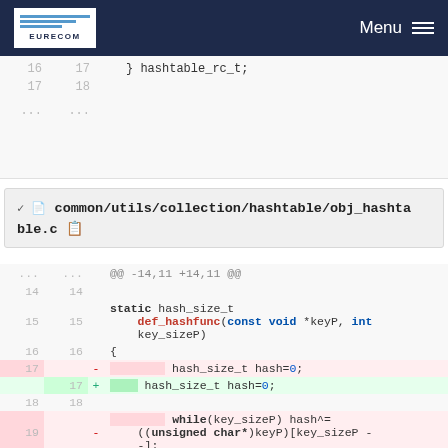EURECOM  Menu
[Figure (screenshot): Top portion of a code diff showing lines 16-17 with '} hashtable_rc_t;' and ellipsis rows]
common/utils/collection/hashtable/obj_hashtable.c
[Figure (screenshot): Code diff for obj_hashtable.c showing hunk @@ -14,11 +14,11 @@ with lines 14-19, including static hash_size_t def_hashfunc function definition, deletion and insertion of hash_size_t hash=0 and while loop changes]